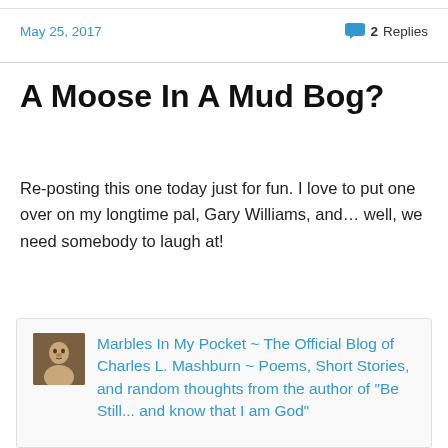May 25, 2017
2 Replies
A Moose In A Mud Bog?
Re-posting this one today just for fun. I love to put one over on my longtime pal, Gary Williams, and… well, we need somebody to laugh at!
[Figure (other): Blog embed card with avatar image (person face icon) and blog title link: Marbles In My Pocket ~ The Official Blog of Charles L. Mashburn ~ Poems, Short Stories, and random thoughts from the author of "Be Still... and know that I am God"]
My high school pal and teammate, Gary Williams, likes to poke fun at